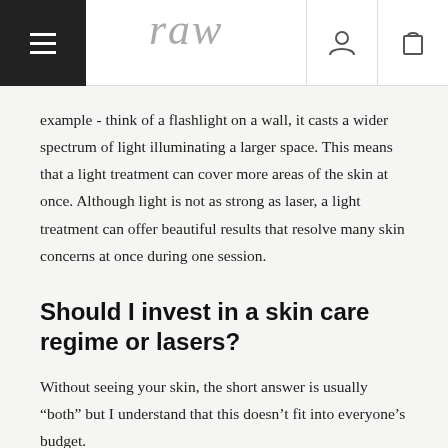raw
example - think of a flashlight on a wall, it casts a wider spectrum of light illuminating a larger space. This means that a light treatment can cover more areas of the skin at once. Although light is not as strong as laser, a light treatment can offer beautiful results that resolve many skin concerns at once during one session.
Should I invest in a skin care regime or lasers?
Without seeing your skin, the short answer is usually “both” but I understand that this doesn’t fit into everyone’s budget.